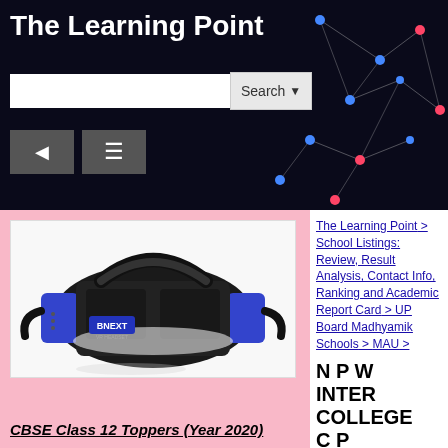The Learning Point
[Figure (screenshot): Search bar with Search button and dropdown arrow, and navigation buttons below including a back arrow and hamburger menu icon, on a dark background with network graph pattern of colored dots and lines]
[Figure (photo): BNEXT VR Headset — a black and blue virtual reality headset on a white background]
The Learning Point > School Listings: Review, Result Analysis, Contact Info, Ranking and Academic Report Card > UP Board Madhyamik Schools > MAU >
N P W INTER COLLEGE C P
CBSE Class 12 Toppers (Year 2020)